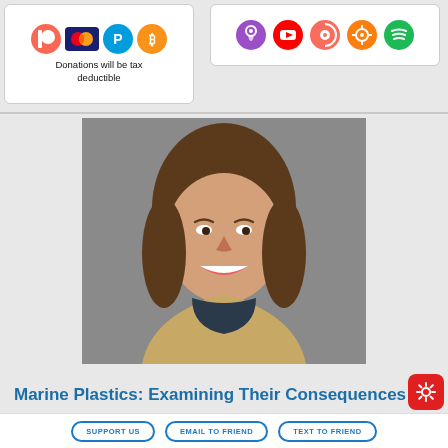[Figure (infographic): Payment method icons: Patreon, Mastercard, PayPal, Bitcoin in a white rounded box with text 'Donations will be tax deductible']
[Figure (infographic): Podcast platform icons: Apple Podcasts, YouTube, Podchaser, Overcast, Spotify in a white rounded box]
[Figure (photo): Headshot of a young woman with shoulder-length brown hair, smiling, wearing a tan blazer, against a gray background]
Marine Plastics: Examining Their Consequences And
SUPPORT US   EMAIL TO FRIEND   TEXT TO FRIEND